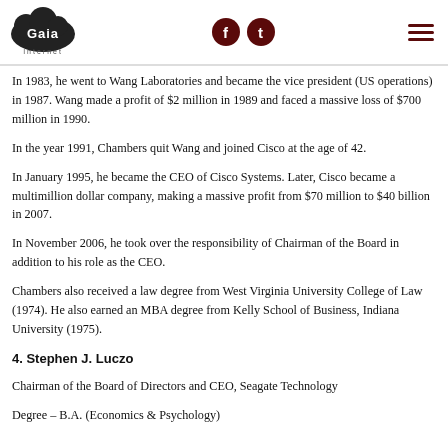Gaia Internet | social icons | menu
In 1983, he went to Wang Laboratories and became the vice president (US operations) in 1987. Wang made a profit of $2 million in 1989 and faced a massive loss of $700 million in 1990.
In the year 1991, Chambers quit Wang and joined Cisco at the age of 42.
In January 1995, he became the CEO of Cisco Systems. Later, Cisco became a multimillion dollar company, making a massive profit from $70 million to $40 billion in 2007.
In November 2006, he took over the responsibility of Chairman of the Board in addition to his role as the CEO.
Chambers also received a law degree from West Virginia University College of Law (1974). He also earned an MBA degree from Kelly School of Business, Indiana University (1975).
4. Stephen J. Luczo
Chairman of the Board of Directors and CEO, Seagate Technology
Degree – B.A. (Economics & Psychology)